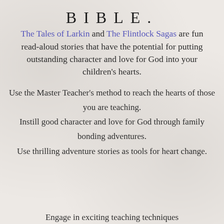BIBLE.
The Tales of Larkin and The Flintlock Sagas are fun read-aloud stories that have the potential for putting outstanding character and love for God into your children's hearts.
Use the Master Teacher's method to reach the hearts of those you are teaching. Instill good character and love for God through family bonding adventures. Use thrilling adventure stories as tools for heart change.
Engage in exciting teaching techniques